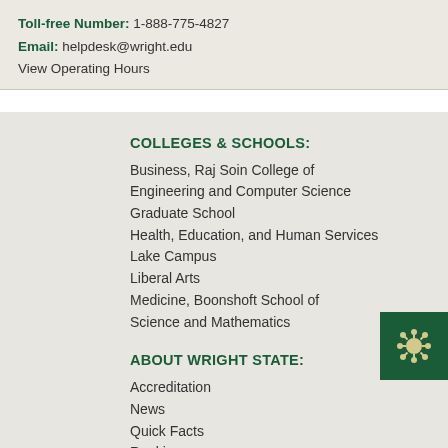Toll-free Number: 1-888-775-4827
Email: helpdesk@wright.edu
View Operating Hours
COLLEGES & SCHOOLS:
Business, Raj Soin College of
Engineering and Computer Science
Graduate School
Health, Education, and Human Services
Lake Campus
Liberal Arts
Medicine, Boonshoft School of
Science and Mathematics
ABOUT WRIGHT STATE:
Accreditation
News
Quick Facts
Rankings